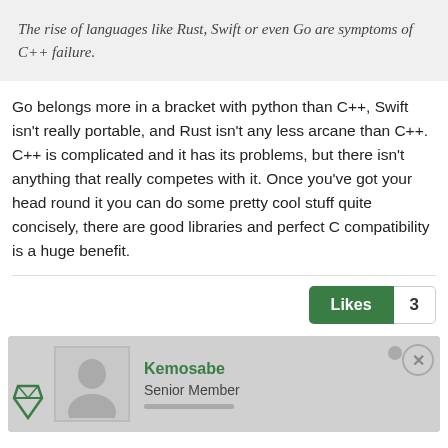The rise of languages like Rust, Swift or even Go are symptoms of C++ failure.
Go belongs more in a bracket with python than C++, Swift isn't really portable, and Rust isn't any less arcane than C++. C++ is complicated and it has its problems, but there isn't anything that really competes with it. Once you've got your head round it you can do some pretty cool stuff quite concisely, there are good libraries and perfect C compatibility is a huge benefit.
Likes 3
Kemosabe
Senior Member